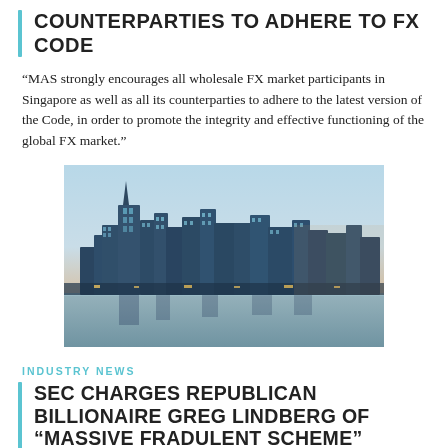COUNTERPARTIES TO ADHERE TO FX CODE
“MAS strongly encourages all wholesale FX market participants in Singapore as well as all its counterparties to adhere to the latest version of the Code, in order to promote the integrity and effective functioning of the global FX market.”
[Figure (photo): Photograph of Singapore city skyline at dusk/sunset, featuring tall glass skyscrapers reflected in water.]
INDUSTRY NEWS
SEC CHARGES REPUBLICAN BILLIONAIRE GREG LINDBERG OF “MASSIVE FRADULENT SCHEME” WORTH $75M